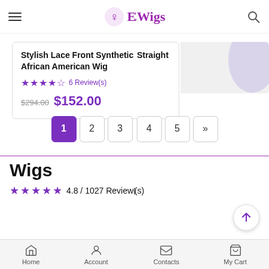EWigs
Stylish Lace Front Synthetic Straight African American Wig
4.5 stars  6 Review(s)
$294.00  $152.00
Pagination: 1 2 3 4 5 »
Wigs
4.8 / 1027 Review(s)
Hot Search
Home  Account  Contacts  My Cart